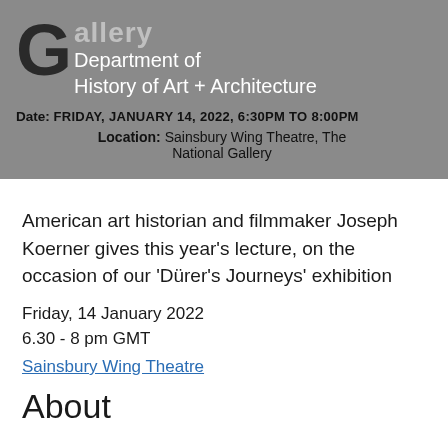Gallery Department of History of Art + Architecture
Date: FRIDAY, JANUARY 14, 2022, 6:30PM TO 8:00PM
Location: Sainsbury Wing Theatre, The National Gallery
American art historian and filmmaker Joseph Koerner gives this year's lecture, on the occasion of our 'Dürer's Journeys' exhibition
Friday, 14 January 2022
6.30 - 8 pm GMT
Sainsbury Wing Theatre
About